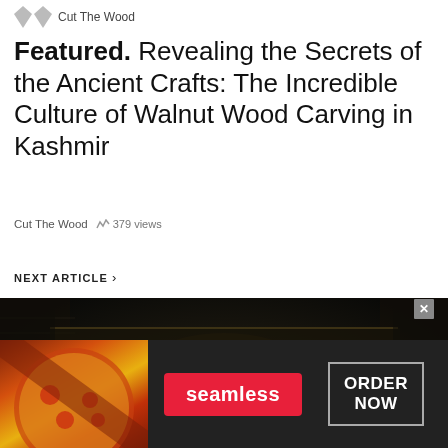Cut The Wood
Featured. Revealing the Secrets of the Ancient Crafts: The Incredible Culture of Walnut Wood Carving in Kashmir
Cut The Wood   379 views
NEXT ARTICLE >
[Figure (photo): Dark ornate metalwork or carved wood decoration with a dragon/serpent figure in relief, surrounded by intricate chain and armor-like patterns in dark bronze/black tones]
[Figure (photo): Seamless food delivery advertisement banner showing pizza on the left, seamless logo in red center button, and ORDER NOW in outlined box on right, on dark background]